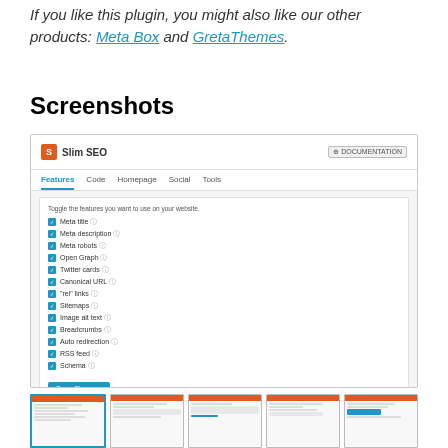If you like this plugin, you might also like our other products: Meta Box and GretaThemes.
Screenshots
[Figure (screenshot): Screenshot of Slim SEO plugin admin panel showing the Features tab with toggles for Meta title, Meta description, Meta robots, Open Graph, Twitter cards, Canonical URL, 'rel' links, Sitemaps, Image alt text, Breadcrumbs, Auto redirection, RSS feed, Schema, and a Save Changes button.]
[Figure (screenshot): Row of 5 smaller thumbnail screenshots of Slim SEO plugin admin panel pages.]